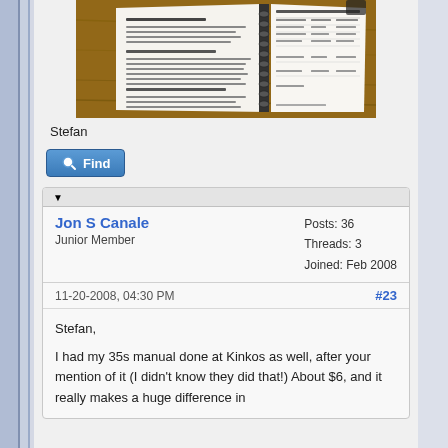[Figure (photo): Photo of a spiral-bound manual/book open on a wooden table, showing printed pages with text and tables]
Stefan
Find
Jon S Canale
Junior Member
Posts: 36
Threads: 3
Joined: Feb 2008
11-20-2008, 04:30 PM
#23
Stefan,

I had my 35s manual done at Kinkos as well, after your mention of it (I didn't know they did that!) About $6, and it really makes a huge difference in